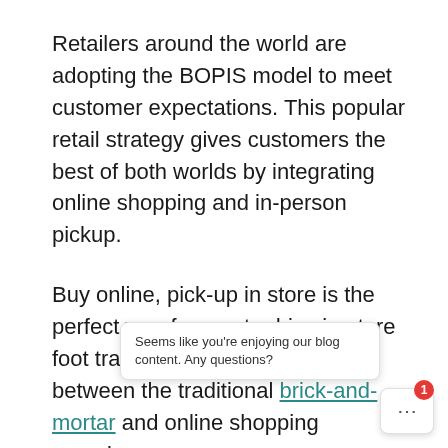Retailers around the world are adopting the BOPIS model to meet customer expectations. This popular retail strategy gives customers the best of both worlds by integrating online shopping and in-person pickup.
Buy online, pick-up in store is the perfect way for you to drive in-store foot traffic and bridge the gap between the traditional brick-and-mortar and online shopping experiences.
Revenue from BOPIS sales was already up an average of 35% during the 2018 holiday sea— and the pandemic has accelerated its